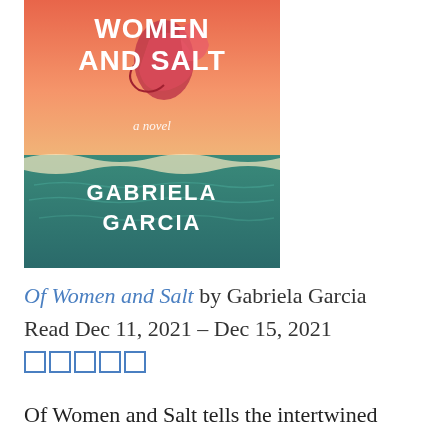[Figure (illustration): Book cover of 'Of Women and Salt' by Gabriela Garcia. Orange and teal background with ocean waves. Large white bold text reads 'WOMEN AND SALT' at the top, 'a novel' in script below, then 'GABRIELA GARCIA' in large white bold letters at the bottom.]
Of Women and Salt by Gabriela Garcia Read Dec 11, 2021 – Dec 15, 2021
☐☐☐☐☐
Of Women and Salt tells the intertwined